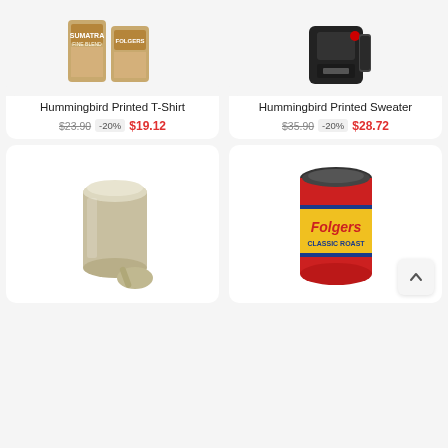[Figure (photo): Hummingbird Printed T-Shirt product image — two tan coffee/product bags on white background]
Hummingbird Printed T-Shirt
$23.90  -20%  $19.12
[Figure (photo): Hummingbird Printed Sweater product image — black coffee maker on white background]
Hummingbird Printed Sweater
$35.90  -20%  $28.72
[Figure (photo): Stainless steel coffee canister with scoop on white background]
[Figure (photo): Folgers Classic Roast coffee container, red can with yellow label]